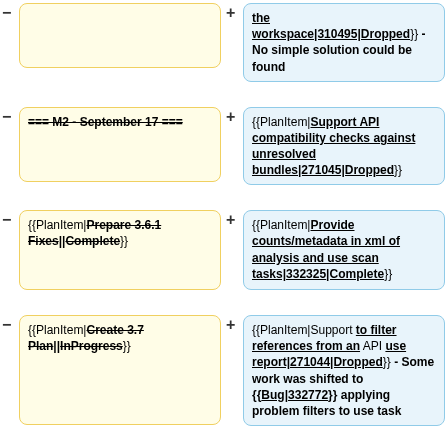(top-left cell, partial/empty)
the workspace|310495|Dropped}} - No simple solution could be found
=== M2 - September 17 ===
{{PlanItem|Support API compatibility checks against unresolved bundles|271045|Dropped}}
{{PlanItem|Prepare 3.6.1 Fixes||Complete}}
{{PlanItem|Provide counts/metadata in xml of analysis and use scan tasks|332325|Complete}}
{{PlanItem|Create 3.7 Plan||InProgress}}
{{PlanItem|Support to filter references from an API use report|271044|Dropped}} - Some work was shifted to {{Bug|332772}} applying problem filters to use task